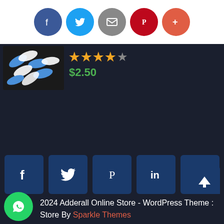[Figure (screenshot): Top share bar with social media circle icons: Facebook (blue), Twitter (light blue), Email (grey), Pinterest (red), Plus/More (orange-red)]
[Figure (photo): Product thumbnail image of blue and white capsule pills on dark background]
★★★★☆
$2.50
[Figure (screenshot): Row of 5 dark blue square social media buttons: Facebook, Twitter, Pinterest, LinkedIn, YouTube]
[Figure (screenshot): Payment method logos: Visa/Mastercard/Maestro/Amex, Bitcoin Accepted Here, Western Union, and two small shield/checkmark icons]
2024 Adderall Online Store - WordPress Theme : Store By Sparkle Themes